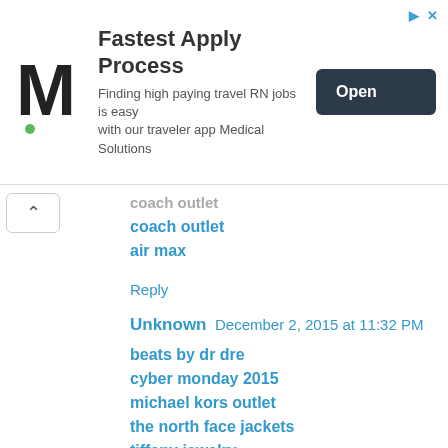[Figure (other): Advertisement banner for Medical Solutions travel RN jobs with M logo, 'Fastest Apply Process' heading, descriptive text, and Open button]
coach outlet
air max
Reply
Unknown December 2, 2015 at 11:32 PM
beats by dr dre
cyber monday 2015
michael kors outlet
the north face jackets
tiffany jewelry
beats headphones
michael kors handbags
cheap uggs
christian louboutin uk
canada goose jackets